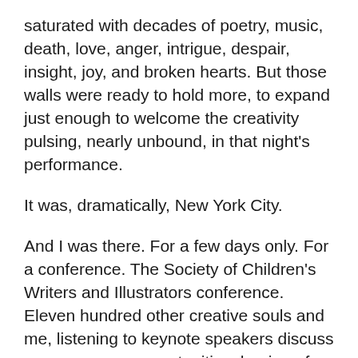saturated with decades of poetry, music, death, love, anger, intrigue, despair, insight, joy, and broken hearts. But those walls were ready to hold more, to expand just enough to welcome the creativity pulsing, nearly unbound, in that night's performance.
It was, dramatically, New York City.
And I was there. For a few days only. For a conference. The Society of Children's Writers and Illustrators conference. Eleven hundred other creative souls and me, listening to keynote speakers discuss perseverance, opportunities, honing of craft, targeting of audiences, social media, voice, inspiration, pure dumb luck, big-dollar contracts, failure.